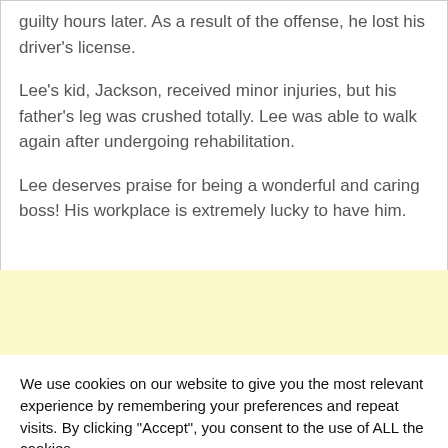guilty hours later. As a result of the offense, he lost his driver's license.
Lee's kid, Jackson, received minor injuries, but his father's leg was crushed totally. Lee was able to walk again after undergoing rehabilitation.
Lee deserves praise for being a wonderful and caring boss! His workplace is extremely lucky to have him.
We use cookies on our website to give you the most relevant experience by remembering your preferences and repeat visits. By clicking “Accept”, you consent to the use of ALL the cookies.
Cookie settings
ACCEPT